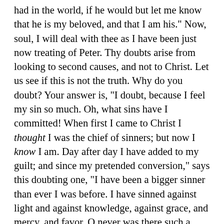had in the world, if he would but let me know that he is my beloved, and that I am his." Now, soul, I will deal with thee as I have been just now treating of Peter. Thy doubts arise from looking to second causes, and not to Christ. Let us see if this is not the truth. Why do you doubt? Your answer is, "I doubt, because I feel my sin so much. Oh, what sins have I committed! When first I came to Christ I thought I was the chief of sinners; but now I know I am. Day after day I have added to my guilt; and since my pretended conversion," says this doubting one, "I have been a bigger sinner than ever I was before. I have sinned against light and against knowledge, against grace, and mercy, and favor. O never was there such a sinner under God's heaven out of hell as I am." But, soul, is not this looking to second causes? It is true, thou art the chief of sinners; take that for granted, let us not dispute it. Thy sins are as evil as thou sayest they are, and a great deal more so. Depend on it, thou art worse than thou thinkest thyself to be. Thou thinkest thou